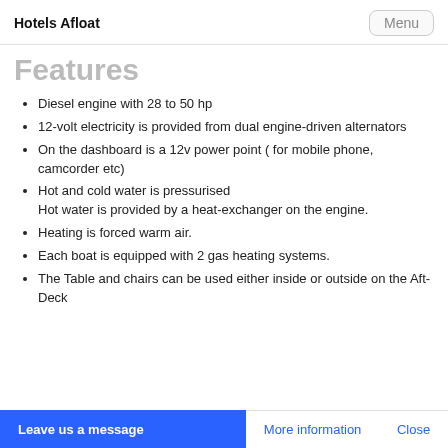Hotels Afloat   Menu
Features
Diesel engine with 28 to 50 hp
12-volt electricity is provided from dual engine-driven alternators
On the dashboard is a 12v power point ( for mobile phone, camcorder etc)
Hot and cold water is pressurised
Hot water is provided by a heat-exchanger on the engine.
Heating is forced warm air.
Each boat is equipped with 2 gas heating systems.
The Table and chairs can be used either inside or outside on the Aft-Deck
Leave us a message   More information   Close